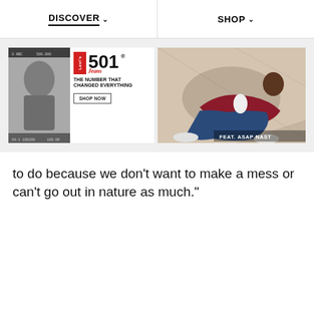DISCOVER   SHOP
[Figure (advertisement): Levi's 501 Jeans advertisement: black and white photo of a person on the left, red Levi's logo with '501 Jeans' text, 'THE NUMBER THAT CHANGED EVERYTHING' headline, and 'SHOP NOW' button]
[Figure (advertisement): Fashion advertisement featuring a man in jeans and a burgundy jacket reclining, with text 'FEAT. ASAP NAST' in the lower right corner]
to do because we don’t want to make a mess or can’t go out in nature as much.”